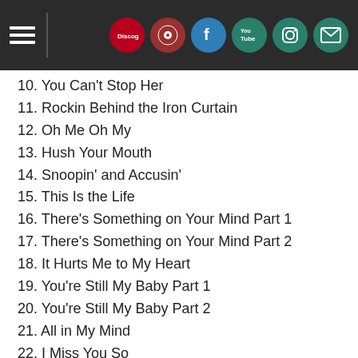Navigation header with hamburger menu and social icons (Discogs, RDio, Facebook, YouTube, Instagram, Mail)
10. You Can't Stop Her
11. Rockin Behind the Iron Curtain
12. Oh Me Oh My
13. Hush Your Mouth
14. Snoopin' and Accusin'
15. This Is the Life
16. There's Something on Your Mind Part 1
17. There's Something on Your Mind Part 2
18. It Hurts Me to My Heart
19. You're Still My Baby Part 1
20. You're Still My Baby Part 2
21. All in My Mind
22. I Miss You So
23. What You Don't Know Don't Hurt You
24. I Need Someone (I Need You)
25. Things I Used to Do (Pt. 1)
26. Things I Used to Do (Pt. 2)
27. Yes, It's Written All Over Your Face
28. Look at My Heart